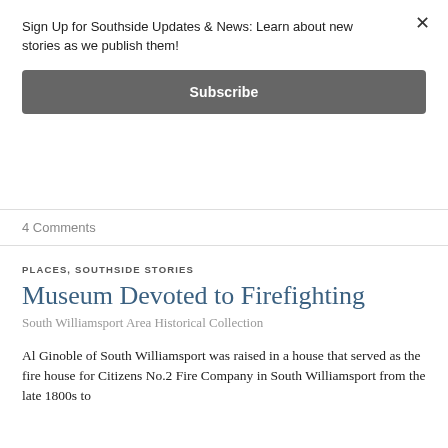Sign Up for Southside Updates & News: Learn about new stories as we publish them!
Subscribe
4 Comments
PLACES, SOUTHSIDE STORIES
Museum Devoted to Firefighting
South Williamsport Area Historical Collection
Al Ginoble of South Williamsport was raised in a house that served as the fire house for Citizens No.2 Fire Company in South Williamsport from the late 1800s to